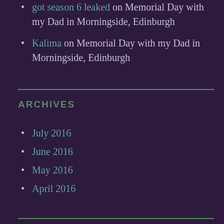got season 6 leaked on Memorial Day with my Dad in Morningside, Edinburgh
Kalima on Memorial Day with my Dad in Morningside, Edinburgh
ARCHIVES
July 2016
June 2016
May 2016
April 2016